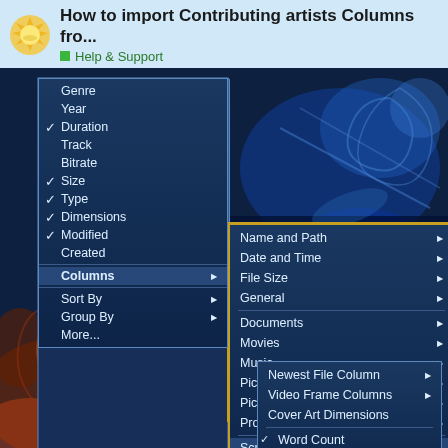How to import Contributing artists Columns fro... Help & Support
[Figure (screenshot): Screenshot of a Windows Explorer context menu showing column options. A cascading menu system is open with: a first menu (left) listing Genre, Year, Duration (checked), Track, Bitrate, Size (checked), Type (checked), Dimensions (checked), Modified (checked), Created, Columns (with submenu arrow), Sort By (with submenu arrow), Group By (with submenu arrow), More... A second menu (middle) showing Name and Path, Date and Time, File Size, General (each with submenu arrows), then Documents, Movies, Music, Picture Dimensions, Picture Metadata, Programs (each with submenu arrows), then Script (with submenu arrow, highlighted), Other (with submenu arrow). A third menu (right) showing Newest File Column (with submenu arrow), Video Frame Columns (with submenu arrow), Cover Art Dimensions, Word Count (checked), Hash Match, RegExp1 (highlighted in blue). Page number shows 3 / 10.]